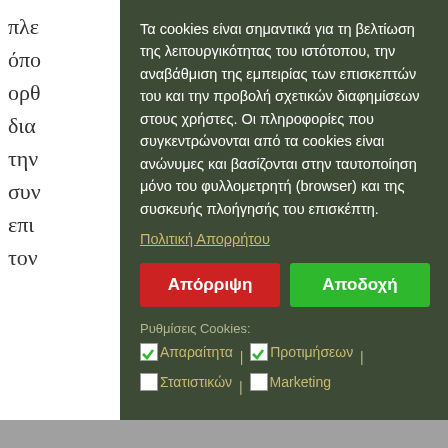Τα cookies είναι σημαντικά για τη βελτίωση της λειτουργικότητας του ιστότοπου, την αναβάθμιση της εμπειρίας των επισκεπτών του και την προβολή σχετικών διαφημίσεων στους χρήστες. Οι πληροφορίες που συγκεντρώνονται από τα cookies είναι ανώνυμες και βασίζονται στην ταυτοποίηση μόνο του φυλλομετρητή (browser) και της συσκευής πλοήγησής του επισκέπτη.
Πολιτική Απορρήτου
Απόρριψη
Αποδοχή
Ρυθμίσεις Cookies: ✓Απαραίτητα | ✓Προτιμήσεων | Στατιστικών | Marketing